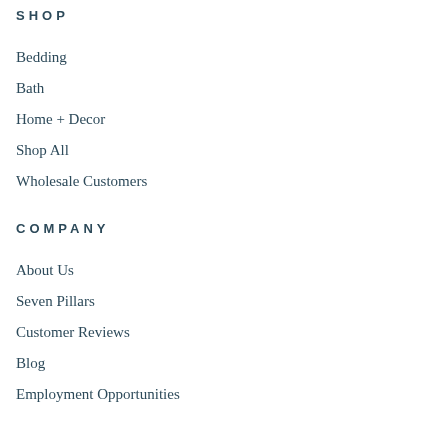SHOP
Bedding
Bath
Home + Decor
Shop All
Wholesale Customers
COMPANY
About Us
Seven Pillars
Customer Reviews
Blog
Employment Opportunities